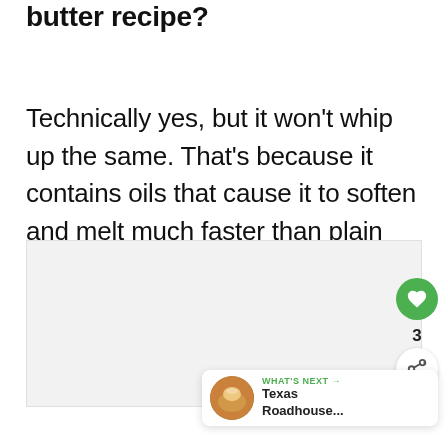butter recipe?
Technically yes, but it won't whip up the same. That's because it contains oils that cause it to soften and melt much faster than plain butter.
[Figure (photo): Image area placeholder, light gray background]
3
WHAT'S NEXT → Texas Roadhouse...